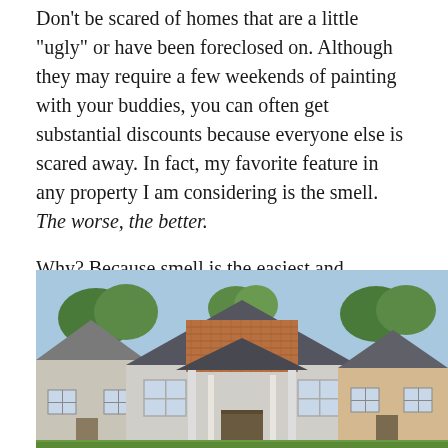Don't be scared of homes that are a little "ugly" or have been foreclosed on. Although they may require a few weekends of painting with your buddies, you can often get substantial discounts because everyone else is scared away. In fact, my favorite feature in any property I am considering is the smell. The worse, the better.
Why? Because smell is the easiest and cheapest thing to fix (usually just by installing new carpet and re-painting) but drives 99 percent of home buyers from even considering the deal.
[Figure (photo): Photograph of a row of residential houses with cedar shingle siding, peaked roofs, and a craftsman-style porch, under a blue sky with trees in the background.]